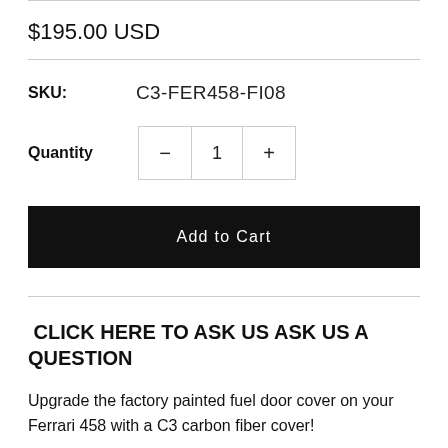$195.00 USD
SKU:   C3-FER458-FI08
Quantity  -  1  +
Add to Cart
CLICK HERE TO ASK US ASK US A QUESTION
Upgrade the factory painted fuel door cover on your Ferrari 458 with a C3 carbon fiber cover!